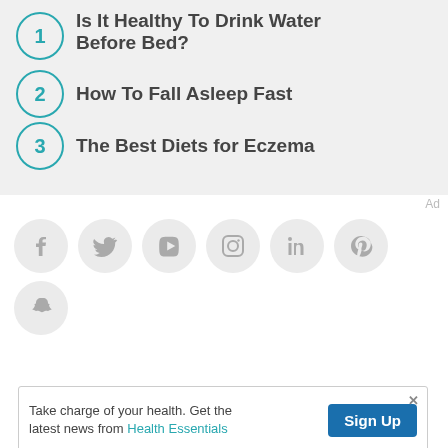1. Is It Healthy To Drink Water Before Bed?
2. How To Fall Asleep Fast
3. The Best Diets for Eczema
[Figure (infographic): Social media icons in gray circles: Facebook, Twitter, YouTube, Instagram, LinkedIn, Pinterest, Snapchat]
Ad
Take charge of your health. Get the latest news from Health Essentials  Sign Up